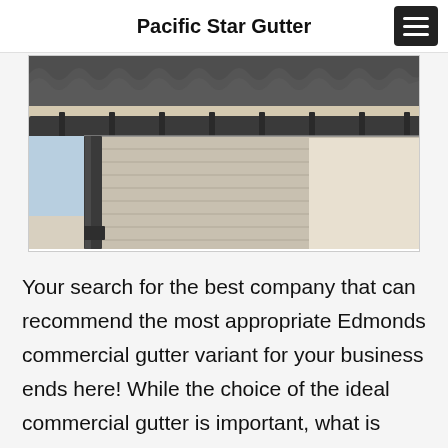Pacific Star Gutter
[Figure (photo): Close-up photo of the corner of a building rooftop showing dark grey gutters/downspouts attached under a tiled roof, with cream/beige siding visible below. Sky is light blue in the background.]
Your search for the best company that can recommend the most appropriate Edmonds commercial gutter variant for your business ends here! While the choice of the ideal commercial gutter is important, what is more